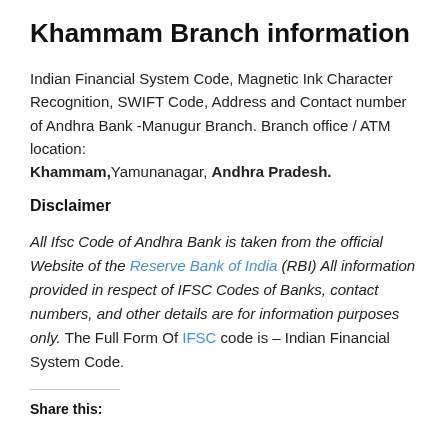Khammam Branch information
Indian Financial System Code, Magnetic Ink Character Recognition, SWIFT Code, Address and Contact number of Andhra Bank -Manugur Branch. Branch office / ATM location: Khammam,Yamunanagar, Andhra Pradesh.
Disclaimer
All Ifsc Code of Andhra Bank is taken from the official Website of the Reserve Bank of India (RBI) All information provided in respect of IFSC Codes of Banks, contact numbers, and other details are for information purposes only. The Full Form Of IFSC code is – Indian Financial System Code.
Share this: